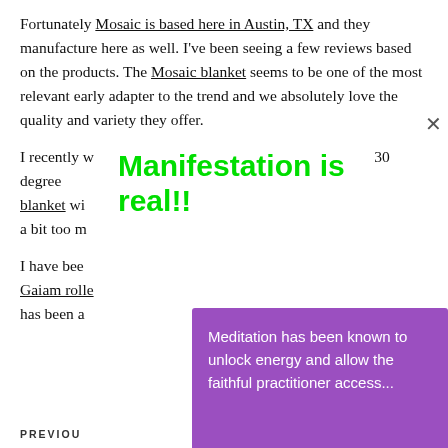Fortunately Mosaic is based here in Austin, TX and they manufacture here as well. I've been seeing a few reviews based on the products. The Mosaic blanket seems to be one of the most relevant early adapter to the trend and we absolutely love the quality and variety they offer.
Manifestation is real!!
I recently w... Mosaic blanket... 30 degree... blanket wi... a bit too m...
I have bee... Gaiam rolle... has been a...
[Figure (infographic): Purple modal overlay with white text: 'Meditation has been known to unlock energy and allow the faithful practitioner access...' and a green 'LEARN MORE' button. Below is an abstract geometric image with teal and purple star/diamond shapes on a green background.]
PREVIOU